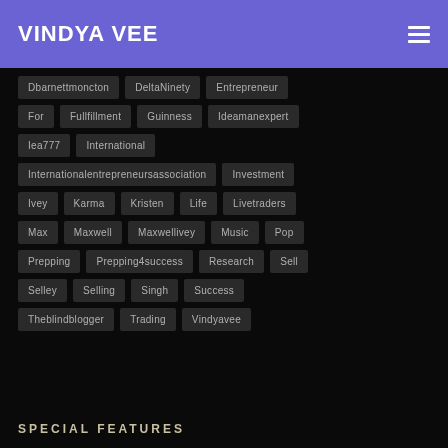VINDYA VEE
Dbarnettmoncton
DeltaNinety
Entrepreneur
For
Fullfillment
Guinness
Ideamanexpert
Iea777
International
Internationalentrepreneursassociation
Investment
Ivey
Karma
Kristen
Life
Livetraders
Max
Maxwell
Maxwellivey
Music
Pop
Prepping
Prepping4success
Research
Sell
Selley
Selling
Singh
Success
Theblindblogger
Trading
Vindyavee
SPECIAL FEATURES